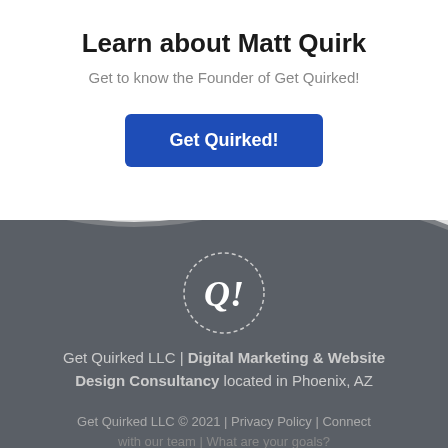Learn about Matt Quirk
Get to know the Founder of Get Quirked!
Get Quirked!
[Figure (logo): Get Quirked logo: circular handwritten Q! in white on dark gray background]
Get Quirked LLC | Digital Marketing & Website Design Consultancy located in Phoenix, AZ
Get Quirked LLC © 2021 | Privacy Policy | Connect with our team | What are your goals?